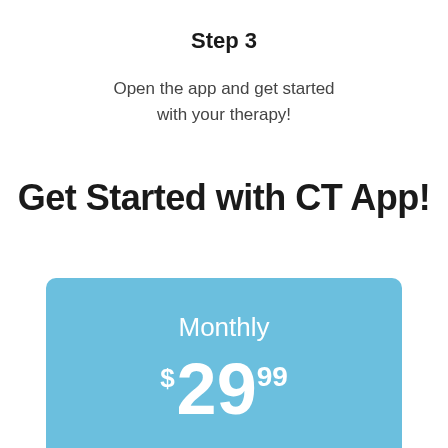Step 3
Open the app and get started with your therapy!
Get Started with CT App!
Monthly $29.99